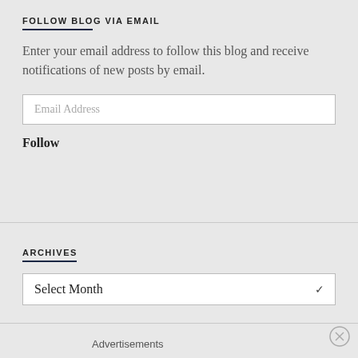FOLLOW BLOG VIA EMAIL
Enter your email address to follow this blog and receive notifications of new posts by email.
Email Address
Follow
ARCHIVES
Select Month
Advertisements